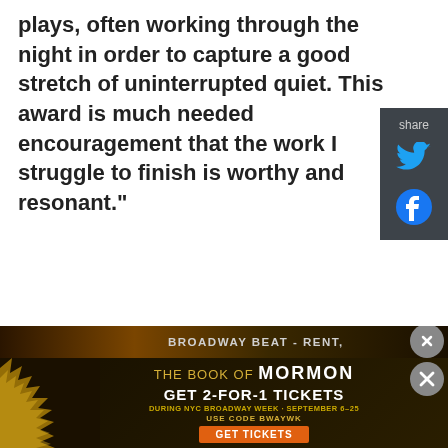plays, often working through the night in order to capture a good stretch of uninterrupted quiet. This award is much needed encouragement that the work I struggle to finish is worthy and resonant."
[Figure (screenshot): Social share panel with Twitter and Facebook icons on dark background, with 'share' label]
[Figure (screenshot): Advertisement for Broadway Beat - Rent overlaying a Broadway show image]
[Figure (advertisement): The Book of Mormon advertisement: GET 2-FOR-1 TICKETS DURING NYC BROADWAY WEEK · SEPTEMBER 6-25, USE CODE BWAYWK, GET TICKETS button]